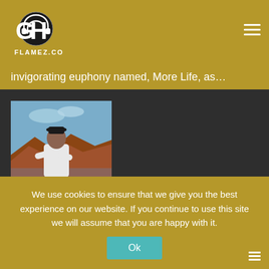[Figure (logo): GHFlamez.com logo with headphones icon on gold/yellow background]
invigorating euphony named, More Life, as…
[Figure (photo): A man in white clothing and black cap standing in a desert/rocky landscape, looking to the side]
Ml Abena – Bigger Feat. Nas and Olamide
We use cookies to ensure that we give you the best experience on our website. If you continue to use this site we will assume that you are happy with it.